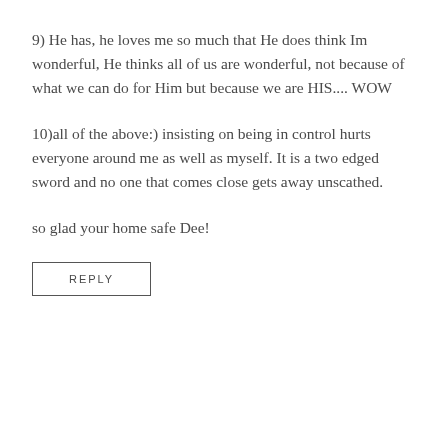9) He has, he loves me so much that He does think Im wonderful, He thinks all of us are wonderful, not because of what we can do for Him but because we are HIS.... WOW
10)all of the above:) insisting on being in control hurts everyone around me as well as myself. It is a two edged sword and no one that comes close gets away unscathed.
so glad your home safe Dee!
REPLY